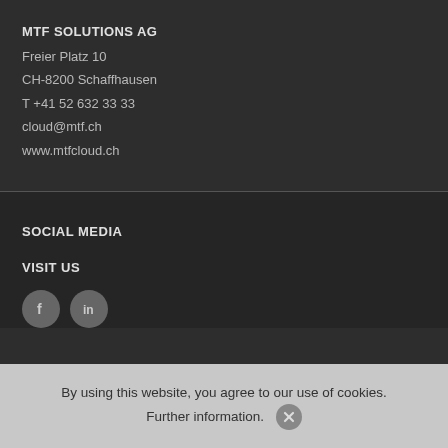MTF SOLUTIONS AG
Freier Platz 10
CH-8200 Schaffhausen
T +41 52 632 33 33
cloud@mtf.ch
www.mtfcloud.ch
SOCIAL MEDIA
VISIT US
[Figure (other): Two circular social media icon buttons (Facebook and LinkedIn)]
By using this website, you agree to our use of cookies. Further information.